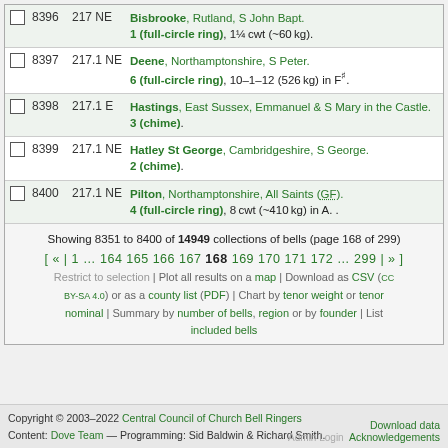|  | ID | Ref | Description |
| --- | --- | --- | --- |
| ☐ | 8396 | 217 NE | Bisbrooke, Rutland, S John Bapt. 1 (full-circle ring), 1¼ cwt (~60 kg). |
| ☐ | 8397 | 217.1 NE | Deene, Northamptonshire, S Peter. 6 (full-circle ring), 10–1–12 (526 kg) in F♯. |
| ☐ | 8398 | 217.1 E | Hastings, East Sussex, Emmanuel & S Mary in the Castle. 3 (chime). |
| ☐ | 8399 | 217.1 NE | Hatley St George, Cambridgeshire, S George. 2 (chime). |
| ☐ | 8400 | 217.1 NE | Pilton, Northamptonshire, All Saints (GF). 4 (full-circle ring), 8 cwt (~410 kg) in A. . |
Showing 8351 to 8400 of 14949 collections of bells (page 168 of 299) [ « | 1 … 164 165 166 167 168 169 170 171 172 … 299 | » ]
Restrict to selection | Plot all results on a map | Download as CSV (CC BY-SA 4.0) or as a county list (PDF) | Chart by tenor weight or tenor nominal | Summary by number of bells, region or by founder | List included bells
Copyright © 2003–2022 Central Council of Church Bell Ringers Content: Dove Team — Programming: Sid Baldwin & Richard Smith. Download data Acknowledgements